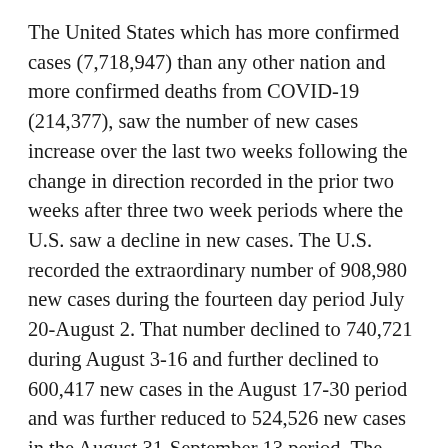The United States which has more confirmed cases (7,718,947) than any other nation and more confirmed deaths from COVID-19 (214,377), saw the number of new cases increase over the last two weeks following the change in direction recorded in the prior two weeks after three two week periods where the U.S. saw a decline in new cases. The U.S. recorded the extraordinary number of 908,980 new cases during the fourteen day period July 20-August 2. That number declined to 740,721 during August 3-16 and further declined to 600,417 new cases in the August 17-30 period and was further reduced to 524,526 new cases in the August 31-September 13 period. The downtrend was reversed during September 14-27, when the number of new cases increased to 592,690 or a daily average of 42,335 cases. During September 28-October 11, the United States recorded 640,149 new cases (45,725/day). That number is likely to continue upward as recent days have seen the